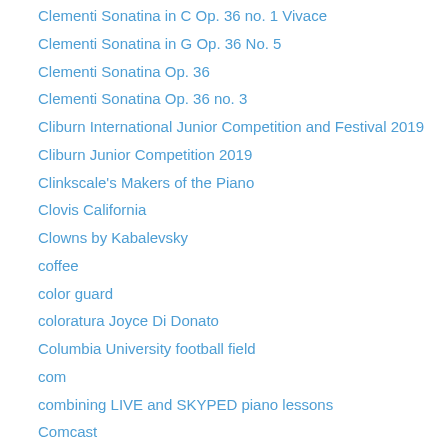Clementi Sonatina in C Op. 36 no. 1 Vivace
Clementi Sonatina in G Op. 36 No. 5
Clementi Sonatina Op. 36
Clementi Sonatina Op. 36 no. 3
Cliburn International Junior Competition and Festival 2019
Cliburn Junior Competition 2019
Clinkscale's Makers of the Piano
Clovis California
Clowns by Kabalevsky
coffee
color guard
coloratura Joyce Di Donato
Columbia University football field
com
combining LIVE and SKYPED piano lessons
Comcast
comedy
comedy at the piano
compare performances of Liszt Contemplation no. 3
comparing a Haddorff to a Steinway